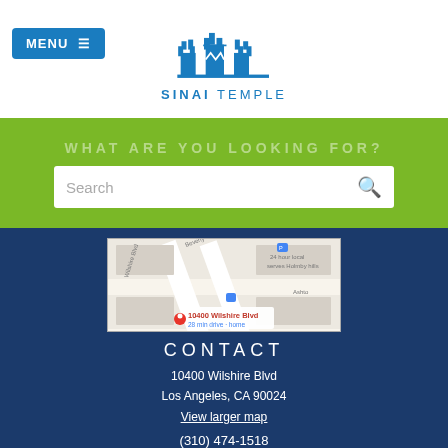[Figure (logo): Sinai Temple logo with blue stylized building/crown icon above the text SINAI TEMPLE]
MENU ≡
WHAT ARE YOU LOOKING FOR?
Search
[Figure (map): Google Maps screenshot showing 10400 Wilshire Blvd with a red location pin, labeled '10400 Wilshire Blvd, 28 min drive - home'. Streets visible include Beverly Glen Blvd, S Beverly, Ashton, and Holmby hills area.]
CONTACT
10400 Wilshire Blvd
Los Angeles, CA 90024
View larger map
(310) 474-1518